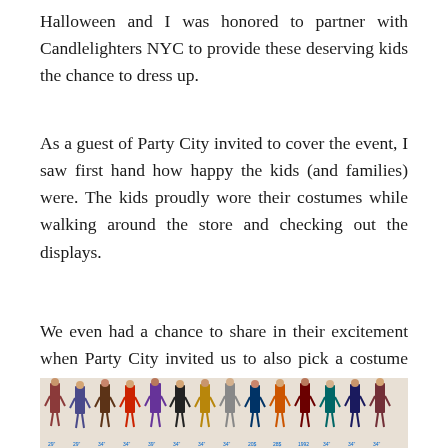Halloween and I was honored to partner with Candlelighters NYC to provide these deserving kids the chance to dress up.
As a guest of Party City invited to cover the event, I saw first hand how happy the kids (and families) were. The kids proudly wore their costumes while walking around the store and checking out the displays.
We even had a chance to share in their excitement when Party City invited us to also pick a costume and go trick-or-treating on the candy wall!
[Figure (photo): A photo showing a wall display of Halloween costumes with small illustrated figures of people in various costumes, with size markers and prices visible.]